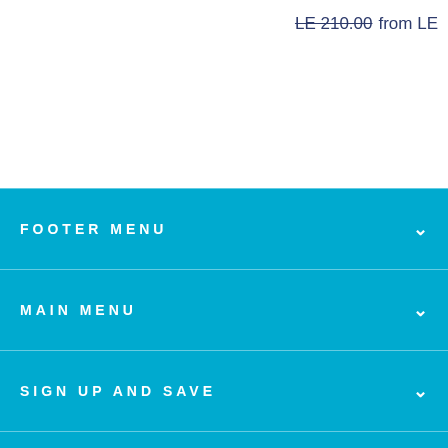LE 210.00  from LE
FOOTER MENU
MAIN MENU
SIGN UP AND SAVE
[Figure (logo): Brand logo: stylized blue plant/flame motif with leaf-wings on white background]
[Figure (other): Facebook and Instagram social media icons in white]